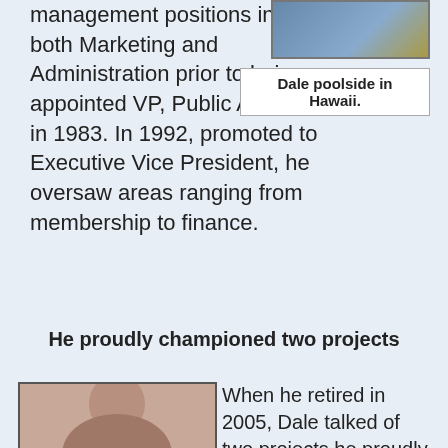management positions in both Marketing and Administration prior to being appointed VP, Public Affairs in 1983. In 1992, promoted to Executive Vice President, he oversaw areas ranging from membership to finance.
[Figure (photo): Dale poolside in Hawaii - photo cropped at top]
Dale poolside in Hawaii.
He proudly championed two projects
[Figure (photo): Portrait photo of Dale, black and white, formal headshot]
When he retired in 2005, Dale talked of two projects he proudly championed: